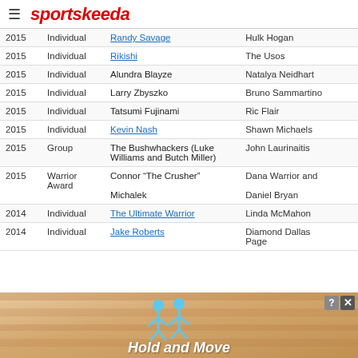sportskeeda
| Year | Category | Inductee | Inductor |
| --- | --- | --- | --- |
| 2015 | Individual | Randy Savage | Hulk Hogan |
| 2015 | Individual | Rikishi | The Usos |
| 2015 | Individual | Alundra Blayze | Natalya Neidhart |
| 2015 | Individual | Larry Zbyszko | Bruno Sammartino |
| 2015 | Individual | Tatsumi Fujinami | Ric Flair |
| 2015 | Individual | Kevin Nash | Shawn Michaels |
| 2015 | Group | The Bushwhackers (Luke Williams and Butch Miller) | John Laurinaitis |
| 2015 | Warrior Award | Connor "The Crusher" Michalek | Dana Warrior and Daniel Bryan |
| 2014 | Individual | The Ultimate Warrior | Linda McMahon |
| 2014 | Individual | Jake Roberts | Diamond Dallas Page |
[Figure (other): Advertisement banner showing animated figures and text 'Hold and Move']